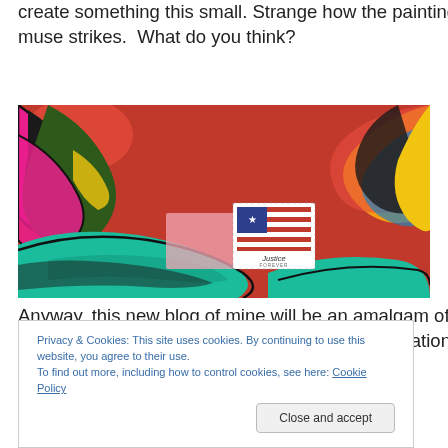create something this small. Strange how the painting muse strikes.  What do you think?
[Figure (photo): A close-up photograph of a colorful painting on a red background with bold floral/leaf motifs in pink, black, yellow, teal, and blue. In the center of the red area is a small US postage stamp reading 'Justice Forever' with an American flag image, and a light pink rectangular label to its left.]
Anyway, this new blog of mine will be an amalgam of art techniques, step-by-step processes, conversation we
Privacy & Cookies: This site uses cookies. By continuing to use this website, you agree to their use.
To find out more, including how to control cookies, see here: Cookie Policy
Close and accept